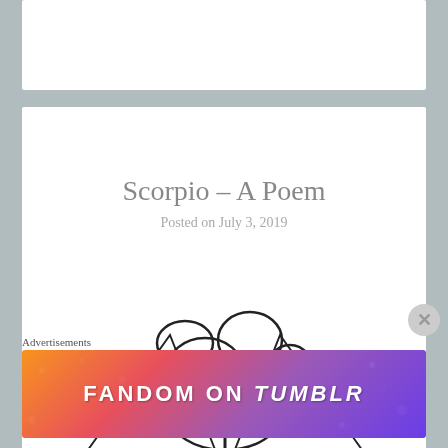Scorpio – A Poem
Posted on July 3, 2019
[Figure (illustration): Line drawing of a scorpion with stars on its body, viewed from above, with geometric triangular background shapes]
Advertisements
[Figure (logo): Fandom on Tumblr advertisement banner with colorful gradient background and white bold text reading FANDOM ON tumblr]